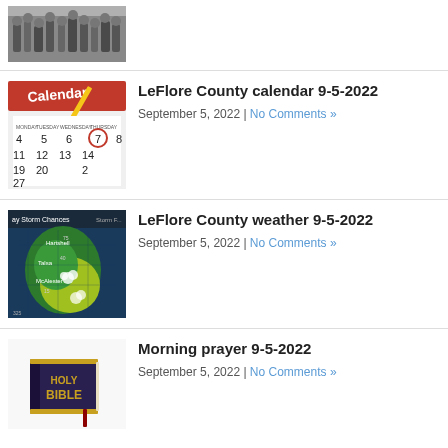[Figure (photo): Black and white photo of a group of people, cropped at top]
LeFlore County calendar 9-5-2022
September 5, 2022 | No Comments »
[Figure (photo): Calendar image with pencil pointing to a date circled in red]
LeFlore County weather 9-5-2022
September 5, 2022 | No Comments »
[Figure (map): Weather map showing storm chances over a region with green and yellow color gradient]
Morning prayer 9-5-2022
September 5, 2022 | No Comments »
[Figure (photo): Holy Bible book on white background]